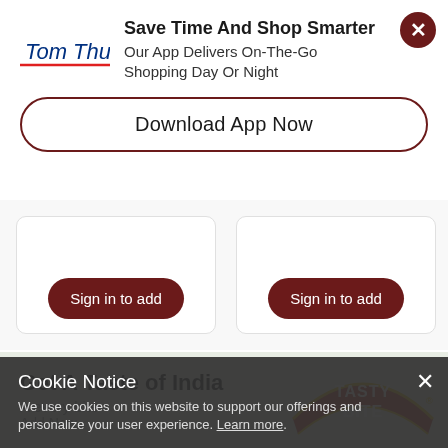Save Time And Shop Smarter
Our App Delivers On-The-Go Shopping Day Or Night
Download App Now
Sign in to add
Sign in to add
Sig
Get A Taste of India
A every bite
Add Now
Cookie Notice
We use cookies on this website to support our offerings and personalize your user experience. Learn more.